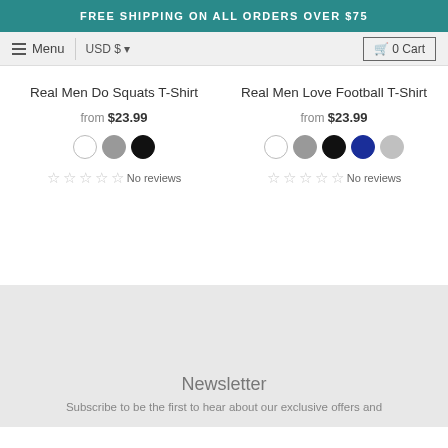FREE SHIPPING ON ALL ORDERS OVER $75
Menu   USD $   0 Cart
Real Men Do Squats T-Shirt
from $23.99
No reviews
Real Men Love Football T-Shirt
from $23.99
No reviews
Newsletter
Subscribe to be the first to hear about our exclusive offers and